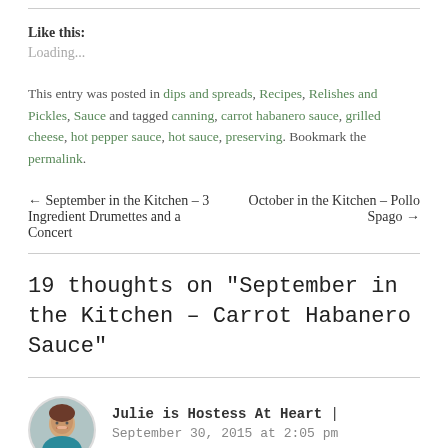Like this:
Loading...
This entry was posted in dips and spreads, Recipes, Relishes and Pickles, Sauce and tagged canning, carrot habanero sauce, grilled cheese, hot pepper sauce, hot sauce, preserving. Bookmark the permalink.
← September in the Kitchen – 3 Ingredient Drumettes and a Concert
October in the Kitchen – Pollo Spago →
19 thoughts on “September in the Kitchen – Carrot Habanero Sauce”
Julie is Hostess At Heart | September 30, 2015 at 2:05 pm